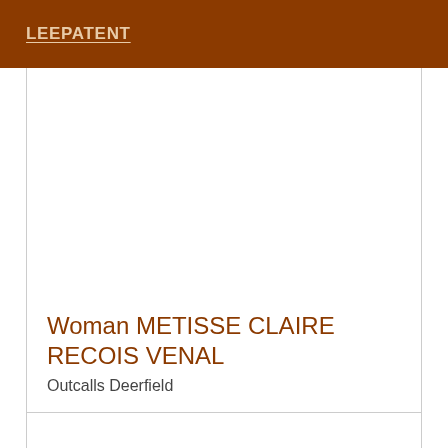LEEPATENT
Woman METISSE CLAIRE RECOIS VENAL
Outcalls Deerfield